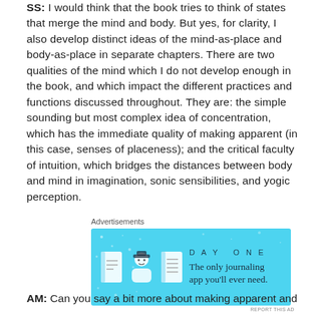SS: I would think that the book tries to think of states that merge the mind and body. But yes, for clarity, I also develop distinct ideas of the mind-as-place and body-as-place in separate chapters. There are two qualities of the mind which I do not develop enough in the book, and which impact the different practices and functions discussed throughout. They are: the simple sounding but most complex idea of concentration, which has the immediate quality of making apparent (in this case, senses of placeness); and the critical faculty of intuition, which bridges the distances between body and mind in imagination, sonic sensibilities, and yogic perception.
[Figure (other): Advertisement banner for Day One journaling app with light blue background, icons of a journal, person, and notebook, and text 'The only journaling app you'll ever need.']
AM: Can you say a bit more about making apparent and